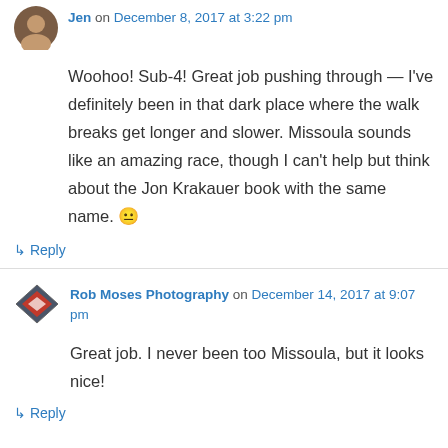Jen on December 8, 2017 at 3:22 pm
Woohoo! Sub-4! Great job pushing through — I've definitely been in that dark place where the walk breaks get longer and slower. Missoula sounds like an amazing race, though I can't help but think about the Jon Krakauer book with the same name. 😐
↳ Reply
Rob Moses Photography on December 14, 2017 at 9:07 pm
Great job. I never been too Missoula, but it looks nice!
↳ Reply